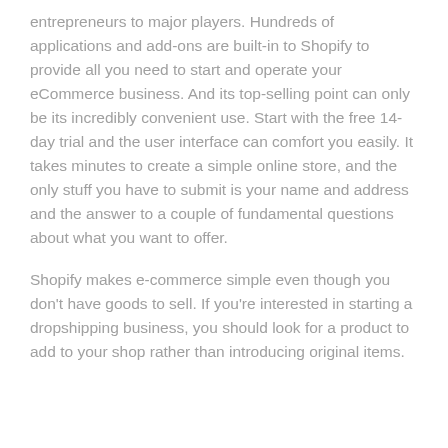entrepreneurs to major players. Hundreds of applications and add-ons are built-in to Shopify to provide all you need to start and operate your eCommerce business. And its top-selling point can only be its incredibly convenient use. Start with the free 14-day trial and the user interface can comfort you easily. It takes minutes to create a simple online store, and the only stuff you have to submit is your name and address and the answer to a couple of fundamental questions about what you want to offer.
Shopify makes e-commerce simple even though you don't have goods to sell. If you're interested in starting a dropshipping business, you should look for a product to add to your shop rather than introducing original items.